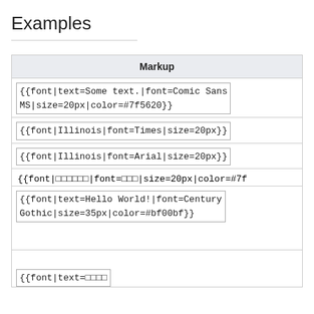Examples
| Markup |
| --- |
| {{font|text=Some text.|font=Comic Sans MS|size=20px|color=#7f5620}} |
| {{font|Illinois|font=Times|size=20px}} |
| {{font|Illinois|font=Arial|size=20px}} |
| {{font|██████|font=███|size=20px|color=#7f... |
| {{font|text=Hello World!|font=Century Gothic|size=35px|color=#bf00bf}} |
| {{font|text=████ |